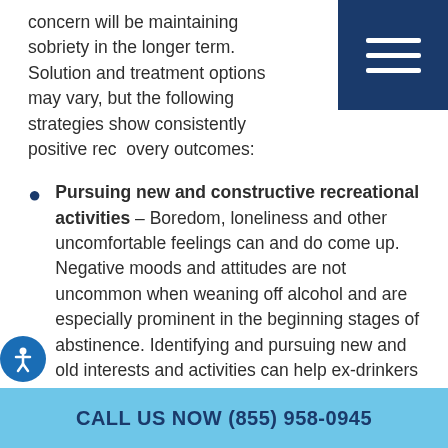concern will be maintaining sobriety in the longer term. Solution and treatment options may vary, but the following strategies show consistently positive recovery outcomes:
Pursuing new and constructive recreational activities – Boredom, loneliness and other uncomfortable feelings can and do come up. Negative moods and attitudes are not uncommon when weaning off alcohol and are especially prominent in the beginning stages of abstinence. Identifying and pursuing new and old interests and activities can help ex-drinkers keep their mind off the drink. New routines create better habits and can facilitate recovery. The pursuit of recreational activities can also create an avenue for meeting healthier, more balanced…
CALL US NOW (855) 958-0945